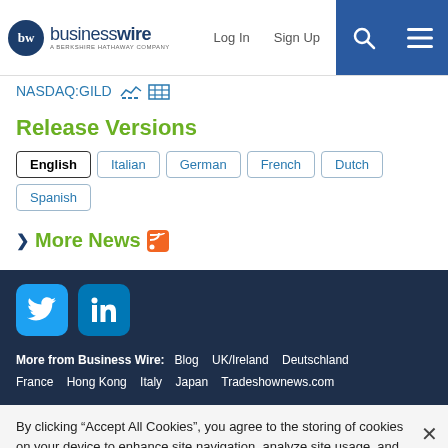businesswire — A Berkshire Hathaway Company | Log In | Sign Up
NASDAQ:GILD
Release Versions
English | Italian | German | French | Dutch | Spanish
› More News
More from Business Wire: Blog  UK/Ireland  Deutschland  France  Hong Kong  Italy  Japan  Tradeshownews.com
By clicking "Accept All Cookies", you agree to the storing of cookies on your device to enhance site navigation, analyze site usage, and assist in our marketing efforts.  Cookie Policy